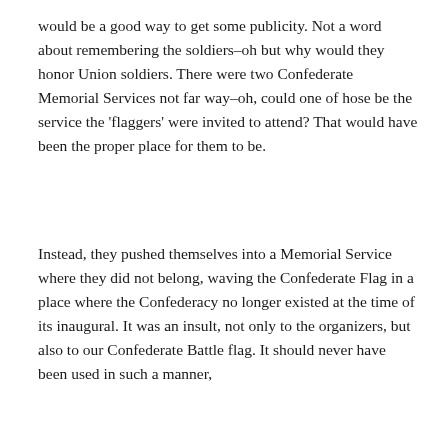would be a good way to get some publicity. Not a word about remembering the soldiers–oh but why would they honor Union soldiers. There were two Confederate Memorial Services not far way–oh, could one of hose be the service the 'flaggers' were invited to attend? That would have been the proper place for them to be.
Instead, they pushed themselves into a Memorial Service where they did not belong, waving the Confederate Flag in a place where the Confederacy no longer existed at the time of its inaugural. It was an insult, not only to the organizers, but also to our Confederate Battle flag. It should never have been used in such a manner,